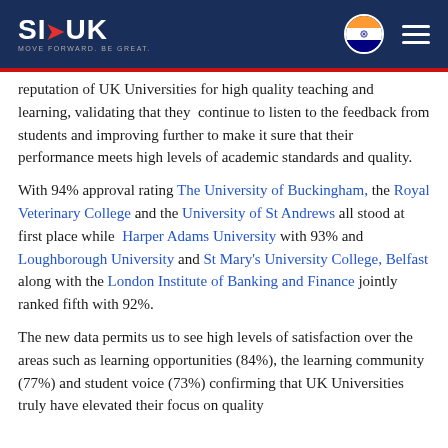SI-UK | MOVE FORWARD. BE GREAT.
reputation of UK Universities for high quality teaching and learning, validating that they continue to listen to the feedback from students and improving further to make it sure that their performance meets high levels of academic standards and quality.
With 94% approval rating The University of Buckingham, the Royal Veterinary College and the University of St Andrews all stood at first place while Harper Adams University with 93% and Loughborough University and St Mary's University College, Belfast along with the London Institute of Banking and Finance jointly ranked fifth with 92%.
The new data permits us to see high levels of satisfaction over the areas such as learning opportunities (84%), the learning community (77%) and student voice (73%) confirming that UK Universities truly have elevated their focus on quality